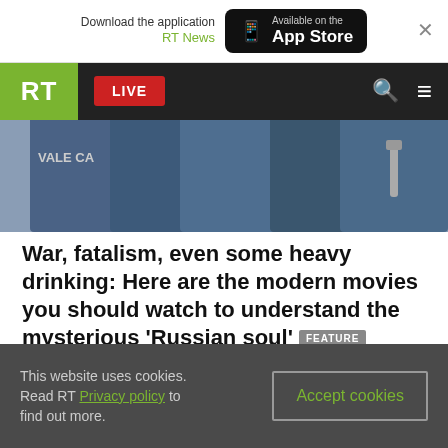Download the application RT News — Available on the App Store
[Figure (screenshot): RT news website navigation bar with RT logo in green, LIVE red button, search and menu icons on black background, and a partially visible hero image of people in blue uniforms]
War, fatalism, even some heavy drinking: Here are the modern movies you should watch to understand the mysterious ‘Russian soul’ FEATURE
This website uses cookies. Read RT Privacy policy to find out more. Accept cookies